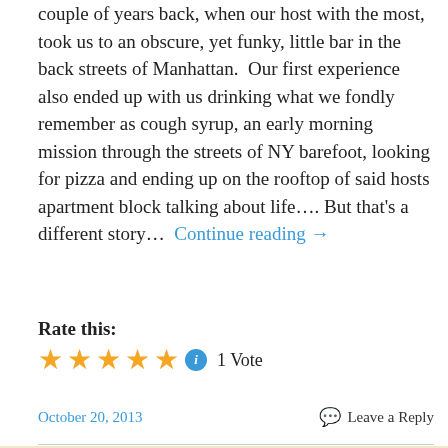couple of years back, when our host with the most, took us to an obscure, yet funky, little bar in the back streets of Manhattan.  Our first experience also ended up with us drinking what we fondly remember as cough syrup, an early morning mission through the streets of NY barefoot, looking for pizza and ending up on the rooftop of said hosts apartment block talking about life…. But that's a different story…  Continue reading →
Rate this:
[Figure (other): Five gold stars rating widget with info icon, showing 1 Vote]
October 20, 2013
Leave a Reply
[Figure (logo): NN & MC's melbourne food (partially visible banner with logo)]